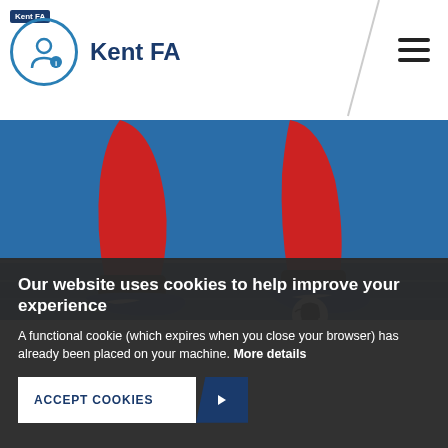Kent FA
[Figure (photo): Close-up of football player legs in red Nike socks and blue Nike shoes on a blue indoor futsal court with a ball]
Our website uses cookies to help improve your experience
A functional cookie (which expires when you close your browser) has already been placed on your machine. More details
ACCEPT COOKIES